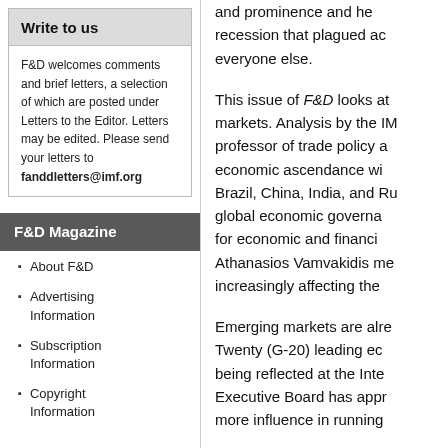Write to us
F&D welcomes comments and brief letters, a selection of which are posted under Letters to the Editor. Letters may be edited. Please send your letters to fanddletters@imf.org
F&D Magazine
About F&D
Advertising Information
Subscription Information
Copyright Information
and prominence and help recession that plagued ac everyone else.
This issue of F&D looks at markets. Analysis by the IM professor of trade policy a economic ascendance wi Brazil, China, India, and Ru global economic governa for economic and financi Athanasios Vamvakidis me increasingly affecting the
Emerging markets are alre Twenty (G-20) leading ec being reflected at the Inte Executive Board has appr more influence in running